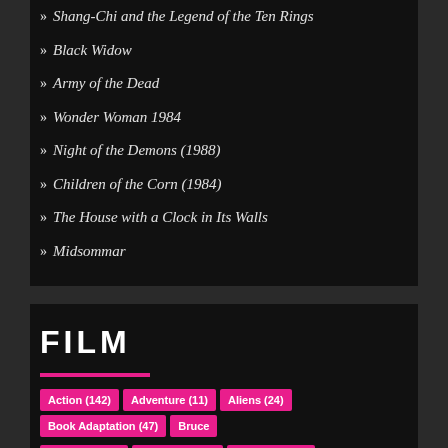» Shang-Chi and the Legend of the Ten Rings
» Black Widow
» Army of the Dead
» Wonder Woman 1984
» Night of the Demons (1988)
» Children of the Corn (1984)
» The House with a Clock in Its Walls
» Midsommar
FILM
Action (142) Adventure (11) Aliens (24) Book Adaptation (47) Bruce Campbell (11) Cannibals (12) Comedy (194) Comic Books (56) Computer Animation (22) Drama (22) Drugs (23) Fantasy (24)